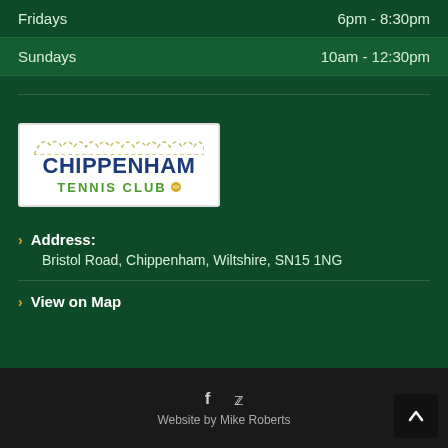Fridays    6pm - 8:30pm
Sundays    10am - 12:30pm
[Figure (logo): Chippenham Tennis Club logo: white rectangle with scalloped top border, 'CHIPPENHAM' in dark navy bold text and 'TENNIS CLUB' in green text with a yellow tennis ball]
Address: Bristol Road, Chippenham, Wiltshire, SN15 1NG
View on Map
f  twitter  Website by Mike Roberts